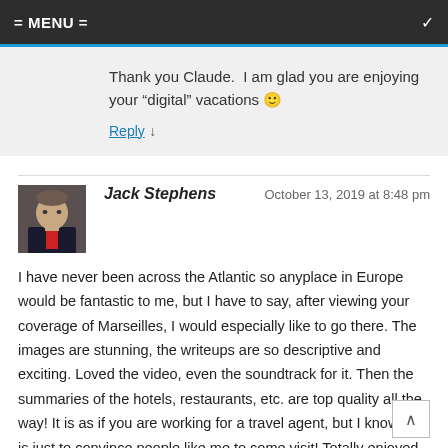= MENU =
Thank you Claude.  I am glad you are enjoying your “digital” vacations 🙂
Reply ↓
Jack Stephens  October 13, 2019 at 8:48 pm
I have never been across the Atlantic so anyplace in Europe would be fantastic to me, but I have to say, after viewing your coverage of Marseilles, I would especially like to go there. The images are stunning, the writeups are so descriptive and exciting. Loved the video, even the soundtrack for it. Then the summaries of the hotels, restaurants, etc. are top quality all the way! It is as if you are working for a travel agent, but I know this is just to convince people like me to come visit! Totally enjoyed this!
Reply ↓